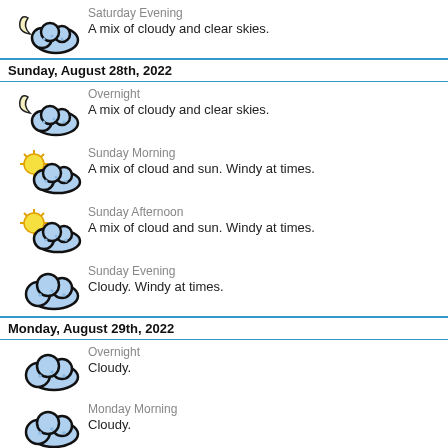[Figure (illustration): Saturday Evening weather icon: moon with clouds]
Saturday Evening
A mix of cloudy and clear skies.
Sunday, August 28th, 2022
[Figure (illustration): Overnight weather icon: moon with clouds]
Overnight
A mix of cloudy and clear skies.
[Figure (illustration): Sunday Morning weather icon: sun with clouds]
Sunday Morning
A mix of cloud and sun.  Windy at times.
[Figure (illustration): Sunday Afternoon weather icon: sun with clouds]
Sunday Afternoon
A mix of cloud and sun.  Windy at times.
[Figure (illustration): Sunday Evening weather icon: cloud]
Sunday Evening
Cloudy.  Windy at times.
Monday, August 29th, 2022
[Figure (illustration): Overnight weather icon: cloud]
Overnight
Cloudy.
[Figure (illustration): Monday Morning weather icon: cloud]
Monday Morning
Cloudy.
[Figure (illustration): Monday Afternoon weather icon: cloud]
Monday Afternoon
Cloudy.
[Figure (illustration): Monday Evening weather icon: moon with clouds]
Monday Evening